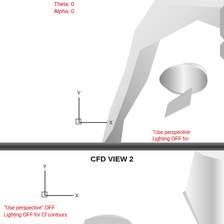[Figure (engineering-diagram): CFD view 1: 3D rendering of aircraft wing with engine nacelle, shown from a perspective angle. Y-X coordinate axes shown in lower left. Red text labels show Theta: 0 and Alpha: 0. Red text in lower right reads 'Use perspective' and 'Lighting OFF for'. Gradient band at bottom of panel.]
Theta: 0
Alpha: 0
"Use perspective"
Lighting OFF for
CFD VIEW 2
[Figure (engineering-diagram): CFD view 2: Lower panel showing partial 3D rendering of aircraft wing, perspective OFF, lighting OFF for Cf contours. Y-X coordinate axes shown in left. Red text in lower left reads: "Use perspective" OFF, Lighting OFF for Cf contours. Engine nacelle visible at bottom center.]
"Use perspective" OFF
Lighting OFF for Cf contours